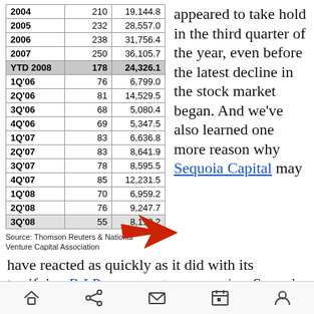|  |  |  |
| --- | --- | --- |
| 2004 | 210 | 19,144.8 |
| 2005 | 232 | 28,557.0 |
| 2006 | 238 | 31,756.4 |
| 2007 | 250 | 36,105.7 |
| YTD 2008 | 178 | 24,326.1 |
| 1Q'06 | 76 | 6,799.0 |
| 2Q'06 | 81 | 14,529.5 |
| 3Q'06 | 68 | 5,080.4 |
| 4Q'06 | 69 | 5,347.5 |
| 1Q'07 | 83 | 6,636.8 |
| 2Q'07 | 83 | 8,641.9 |
| 3Q'07 | 78 | 8,595.5 |
| 4Q'07 | 85 | 12,231.5 |
| 1Q'08 | 70 | 6,959.2 |
| 2Q'08 | 76 | 9,247.7 |
| 3Q'08 | 55 | 8,119.2 |
Source: Thomson Reuters & National Venture Capital Association
appeared to take hold in the third quarter of the year, even before the latest decline in the stock market began. And we’ve also learned one more reason why Sequoia Capital may have reacted as quickly as it did with its terrifying R.I.P. message to companies: Sequoia raised more